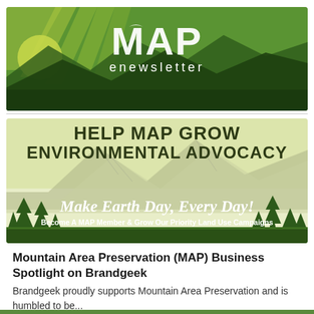[Figure (illustration): MAP enewsletter header banner: green mountain landscape with sun rays, 'MAP' logo in large white letters with bird icon, 'enewsletter' text in white below]
[Figure (illustration): Promotional banner with light green background, mountains and pine trees illustration, text reading 'HELP MAP GROW ENVIRONMENTAL ADVOCACY', 'Make Earth Day, Every Day!', and 'Become A MAP Member & Grow Our Priority Land Use Campaigns']
Mountain Area Preservation (MAP) Business Spotlight on Brandgeek
Brandgeek proudly supports Mountain Area Preservation and is humbled to be...